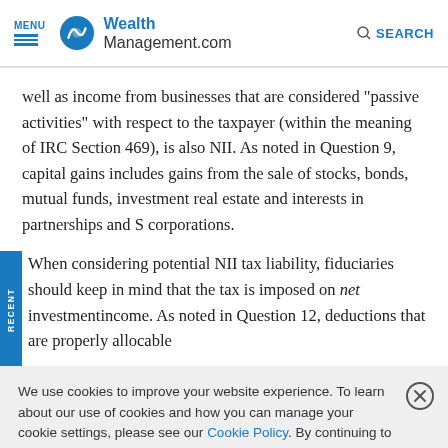MENU | WealthManagement.com | SEARCH
well as income from businesses that are considered “passive activities” with respect to the taxpayer (within the meaning of IRC Section 469), is also NII.  As noted in Question 9, capital gains includes gains from the sale of stocks, bonds, mutual funds, investment real estate and interests in partnerships and S corporations.
When considering potential NII tax liability, fiduciaries should keep in mind that the tax is imposed on net investmentincome.  As noted in Question 12, deductions that are properly allocable
We use cookies to improve your website experience. To learn about our use of cookies and how you can manage your cookie settings, please see our Cookie Policy. By continuing to use the website, you consent to our use of cookies.